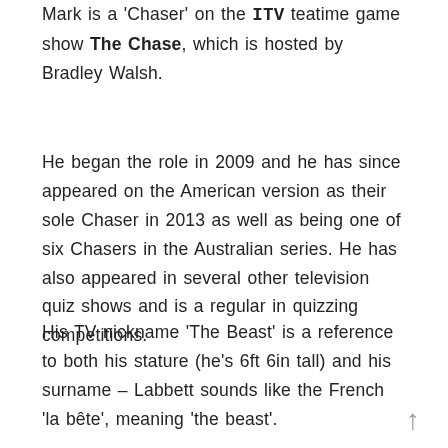Mark is a 'Chaser' on the ITV teatime game show The Chase, which is hosted by Bradley Walsh.
He began the role in 2009 and he has since appeared on the American version as their sole Chaser in 2013 as well as being one of six Chasers in the Australian series. He has also appeared in several other television quiz shows and is a regular in quizzing competitions.
His TV nickname 'The Beast' is a reference to both his stature (he's 6ft 6in tall) and his surname – Labbett sounds like the French 'la bête', meaning 'the beast'.